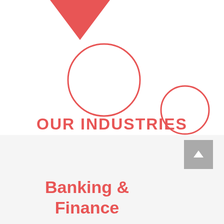[Figure (illustration): Decorative geometric shapes: two red triangles (top-left and top-right), two red outline circles (large center-left and small right), on white background]
OUR INDUSTRIES
Banking & Finance